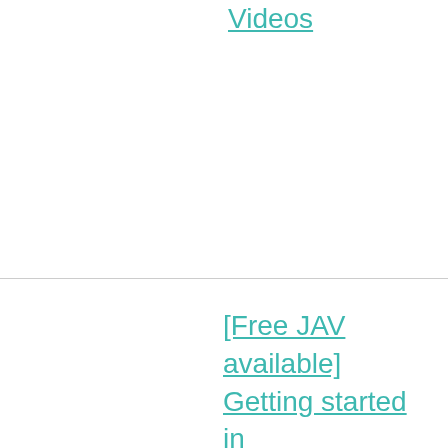Videos
[Free JAV available] Getting started in Caribbeancom
[Free JAV lesbian available] Introduction to Lesshin Show all